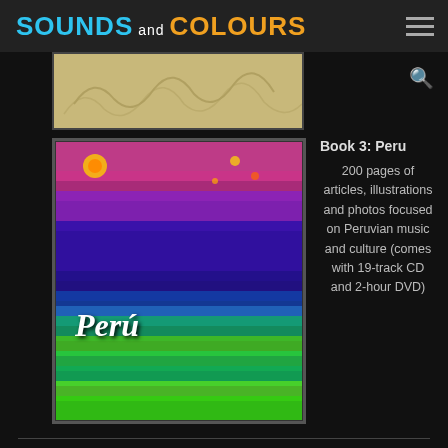SOUNDS and COLOURS
[Figure (photo): Partial thumbnail of a book cover, tan/beige color with decorative illustration]
Book 3: Peru
200 pages of articles, illustrations and photos focused on Peruvian music and culture (comes with 19-track CD and 2-hour DVD)
[Figure (photo): Colorful book cover for 'Perú' - Book 3: Peru, featuring vibrant patterns in purple, pink, green, blue with the word Perú in white italic text]
This work is licensed under a Creative Commons License
Website developed by THG Creative
Subjects – Arts & Books – Book Reviews – Classic Authors – Dance – Environment – Film & TV – Food/Drink – Music – Compilations – Downloads – Mixtapes – Nature – Politics &